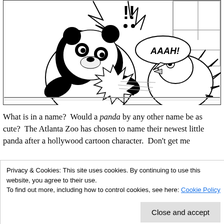[Figure (illustration): Black and white comic strip panel showing a panda bear on the left side facing a frightened bird/rooster on the right side. The panda appears to be eating or attacking something with star-burst action marks. The bird has a speech bubble saying 'AAAH!' and exclamation marks appear at the top. Action lines suggest motion and drama.]
What is in a name?  Would a panda by any other name be as cute?  The Atlanta Zoo has chosen to name their newest little panda after a hollywood cartoon character.  Don't get me
Privacy & Cookies: This site uses cookies. By continuing to use this website, you agree to their use.
To find out more, including how to control cookies, see here: Cookie Policy